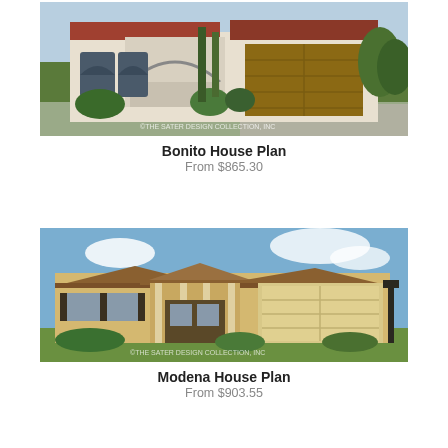[Figure (photo): Rendering of the Bonito House Plan exterior — a single-story Mediterranean-style home with a red tile roof, arched windows, and a brown garage door, set against a landscape with trees and shrubs. Watermark: ©THE SATER DESIGN COLLECTION, INC]
Bonito House Plan
From $865.30
[Figure (photo): Photo of the Modena House Plan exterior — a single-story Florida-style home with a tan stucco facade, multiple rooflines, columns at the entry, and a two-car garage, photographed against a blue sky. Watermark: ©THE SATER DESIGN COLLECTION, INC]
Modena House Plan
From $903.55